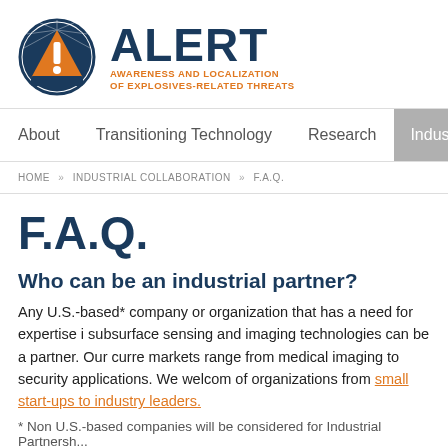[Figure (logo): ALERT logo: circular badge with orange triangle and exclamation mark on dark blue background, with 'ALERT' in large dark blue bold text and 'AWARENESS AND LOCALIZATION OF EXPLOSIVES-RELATED THREATS' in orange below]
About   Transitioning Technology   Research   Industri...
HOME » INDUSTRIAL COLLABORATION » F.A.Q.
F.A.Q.
Who can be an industrial partner?
Any U.S.-based* company or organization that has a need for expertise in subsurface sensing and imaging technologies can be a partner. Our current markets range from medical imaging to security applications. We welcome all of organizations from small start-ups to industry leaders.
* Non U.S.-based companies will be considered for Industrial Partnership...